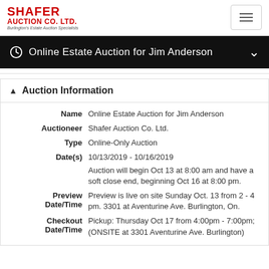SHAFER AUCTION CO. LTD. Burlington's Estate Auction Specialists
Online Estate Auction for Jim Anderson
Auction Information
| Field | Value |
| --- | --- |
| Name | Online Estate Auction for Jim Anderson |
| Auctioneer | Shafer Auction Co. Ltd. |
| Type | Online-Only Auction |
| Date(s) | 10/13/2019 - 10/16/2019
Auction will begin Oct 13 at 8:00 am and have a soft close end, beginning Oct 16 at 8:00 pm. |
| Preview Date/Time | Preview is live on site Sunday Oct. 13 from 2 - 4 pm. 3301 at Aventurine Ave. Burlington, On. |
| Checkout Date/Time | Pickup: Thursday Oct 17 from 4:00pm - 7:00pm; (ONSITE at 3301 Aventurine Ave. Burlington) |